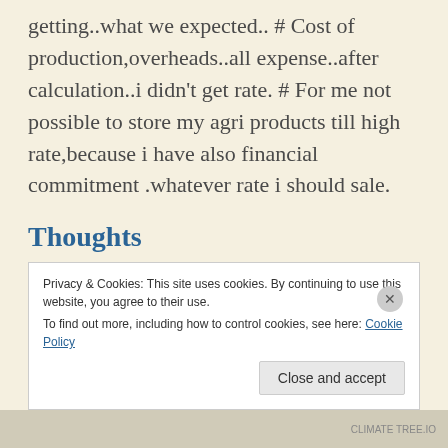getting..what we expected.. # Cost of production,overheads..all expense..after calculation..i didn't get rate. # For me not possible to store my agri products till high rate,because i have also financial commitment .whatever rate i should sale.
Thoughts
So there you have it. Before I talked to him on the phone, my husband and I wondered the
Privacy & Cookies: This site uses cookies. By continuing to use this website, you agree to their use.
To find out more, including how to control cookies, see here: Cookie Policy
Close and accept